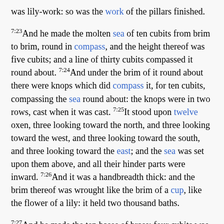was lily-work: so was the work of the pillars finished.
7:23And he made the molten sea of ten cubits from brim to brim, round in compass, and the height thereof was five cubits; and a line of thirty cubits compassed it round about. 7:24And under the brim of it round about there were knops which did compass it, for ten cubits, compassing the sea round about: the knops were in two rows, cast when it was cast. 7:25It stood upon twelve oxen, three looking toward the north, and three looking toward the west, and three looking toward the south, and three looking toward the east; and the sea was set upon them above, and all their hinder parts were inward. 7:26And it was a handbreadth thick: and the brim thereof was wrought like the brim of a cup, like the flower of a lily: it held two thousand baths.
7:27And he made the ten bases of brass; four cubits was the length of one base, and four cubits the breadth thereof, and three cubits the height of it. 7:28And the work of the bases was on this manner: they had panels; and there were panels